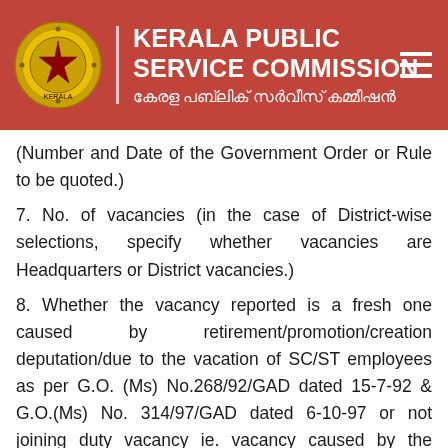KERALA PUBLIC SERVICE COMMISSION കേരള പബ്ലിക് സർവീസ് കമ്മീഷൻ
(Number and Date of the Government Order or Rule to be quoted.)
7. No. of vacancies (in the case of District-wise selections, specify whether vacancies are Headquarters or District vacancies.)
8. Whether the vacancy reported is a fresh one caused by retirement/promotion/creation deputation/due to the vacation of SC/ST employees as per G.O. (Ms) No.268/92/GAD dated 15-7-92 & G.O.(Ms) No. 314/97/GAD dated 6-10-97 or not joining duty vacancy ie. vacancy caused by the ÔÇÿNot Joining DutyÔÇÖ of a candidate advised earlier. (If the